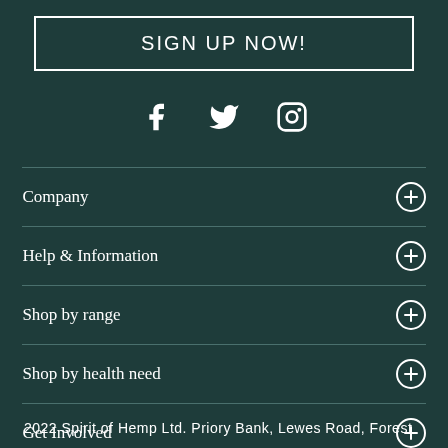SIGN UP NOW!
[Figure (infographic): Social media icons: Facebook, Twitter, Instagram]
Company
Help & Information
Shop by range
Shop by health need
Get Involved
2022 Spirit of Hemp Ltd. Priory Bank, Lewes Road, Forest